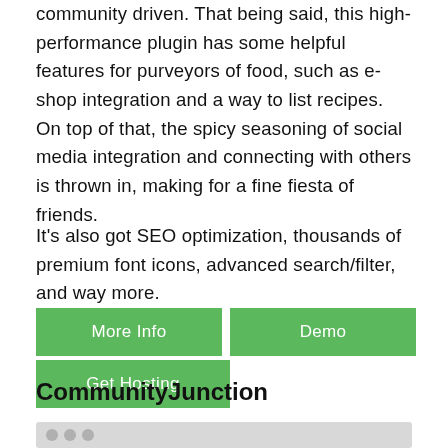community driven. That being said, this high-performance plugin has some helpful features for purveyors of food, such as e-shop integration and a way to list recipes. On top of that, the spicy seasoning of social media integration and connecting with others is thrown in, making for a fine fiesta of friends.
It's also got SEO optimization, thousands of premium font icons, advanced search/filter, and way more.
[Figure (other): Three green buttons: 'More Info', 'Demo', and 'Get Hosting']
CommunityJunction
[Figure (screenshot): Partial screenshot strip with three dots on grey background]